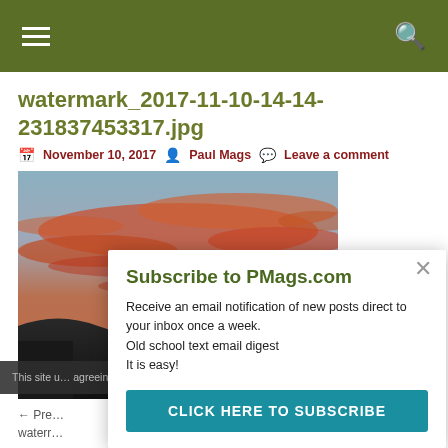Navigation menu and search
watermark_2017-11-10-14-14-231837453317.jpg
November 10, 2017  Paul Mags  Leave a comment
[Figure (photo): Sunset sky photo with dramatic red and orange clouds over dark silhouetted hills]
Subscribe to PMags.com
Receive an email notification of new posts direct to your inbox once a week.
Old school text email digest
It is easy!
CLICK HERE TO SUBSCRIBE
This site u... agreeing to...
← Pre... waterr...